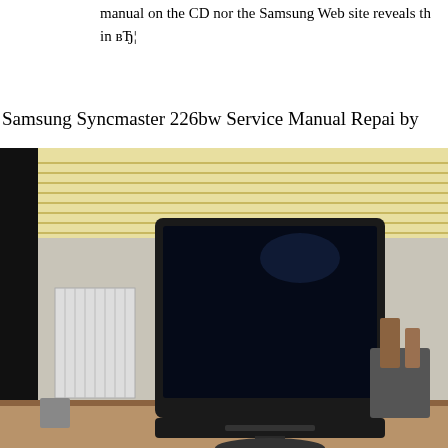manual on the CD nor the Samsung Web site reveals th... in вЂ¦
Samsung Syncmaster 226bw Service Manual Repai by
[Figure (photo): Photo of a Samsung Syncmaster 226bw LCD monitor sitting on a wooden desk in a room with venetian blinds in the background. The monitor screen is black/off. A radiator is visible on the left side and some items on the right side of the desk.]